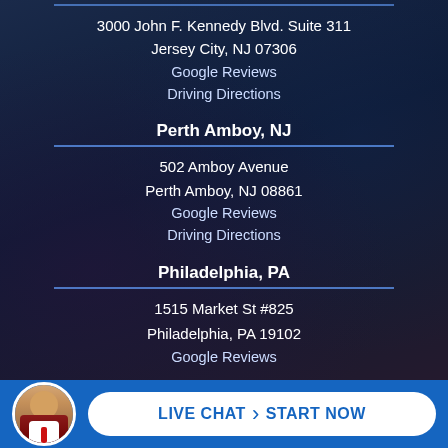3000 John F. Kennedy Blvd. Suite 311
Jersey City, NJ 07306
Google Reviews
Driving Directions
Perth Amboy, NJ
502 Amboy Avenue
Perth Amboy, NJ 08861
Google Reviews
Driving Directions
Philadelphia, PA
1515 Market St #825
Philadelphia, PA 19102
Google Reviews
[Figure (photo): Circular avatar photo of a man in a suit with red tie, used as live chat representative icon]
LIVE CHAT › START NOW